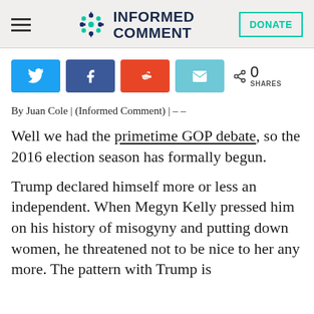Informed Comment — DONATE
[Figure (infographic): Social share buttons: Twitter, Facebook, Reddit, Email; share count 0 SHARES]
By Juan Cole | (Informed Comment) | – –
Well we had the primetime GOP debate, so the 2016 election season has formally begun.
Trump declared himself more or less an independent. When Megyn Kelly pressed him on his history of misogyny and putting down women, he threatened not to be nice to her any more. The pattern with Trump is